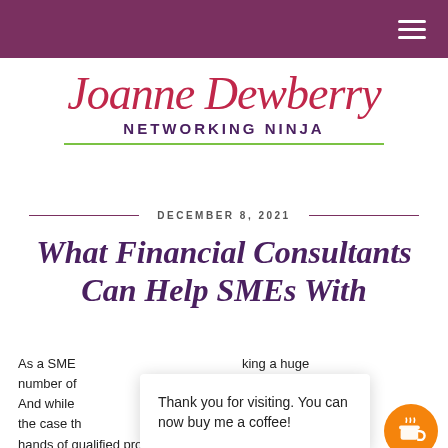Joanne Dewberry – Networking Ninja (header bar with hamburger menu)
[Figure (logo): Joanne Dewberry Networking Ninja logo — script font name in red/crimson, subtitle in bold purple uppercase, with green underline rule]
DECEMBER 8, 2021
What Financial Consultants Can Help SMEs With
As a SME ... king a huge number of ... our b... es. And while ... aw... o the case th... placed in the hands of qualified professionals...
Thank you for visiting. You can now buy me a coffee!